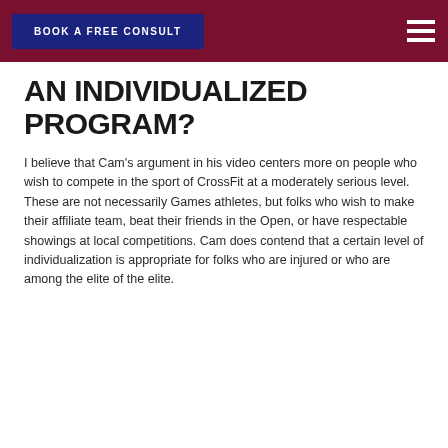BOOK A FREE CONSULT
AN INDIVIDUALIZED PROGRAM?
I believe that Cam's argument in his video centers more on people who wish to compete in the sport of CrossFit at a moderately serious level. These are not necessarily Games athletes, but folks who wish to make their affiliate team, beat their friends in the Open, or have respectable showings at local competitions. Cam does contend that a certain level of individualization is appropriate for folks who are injured or who are among the elite of the elite.